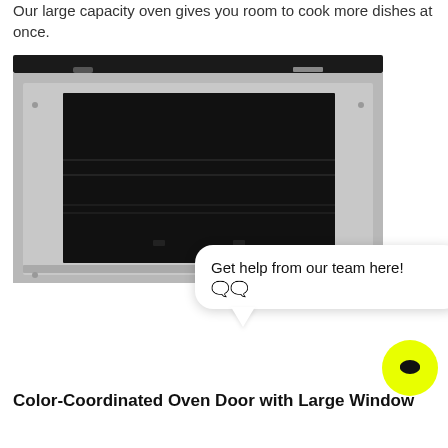Our large capacity oven gives you room to cook more dishes at once.
[Figure (photo): Close-up photo of a stainless steel oven door with a large dark glass window, showing oven racks inside. The oven has a black top panel and silver/stainless steel frame around the window.]
Get help from our team here! 🗨️🗨️
Color-Coordinated Oven Door with Large Window